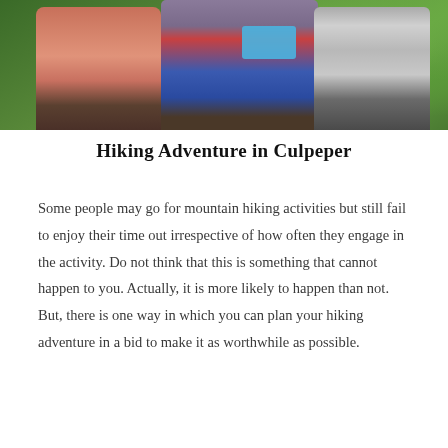[Figure (photo): Photo of hikers with backpacks on a trail surrounded by green foliage. One person has a braid and pink/orange top, another wears a red top with a blue bag, and a third person is partially visible on the right.]
Hiking Adventure in Culpeper
Some people may go for mountain hiking activities but still fail to enjoy their time out irrespective of how often they engage in the activity. Do not think that this is something that cannot happen to you. Actually, it is more likely to happen than not. But, there is one way in which you can plan your hiking adventure in a bid to make it as worthwhile as possible.